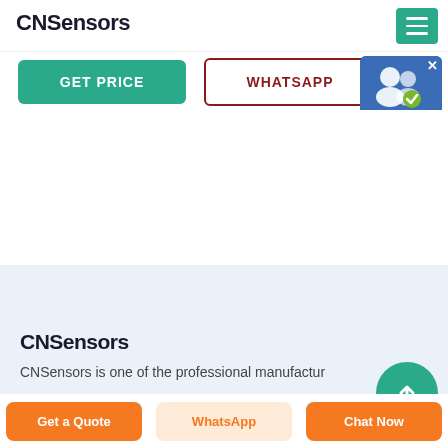CNSensors
GET PRICE
WHATSAPP
[Figure (screenshot): Live Chat widget with blue background showing two white silhouette icons and green banner reading 'Live Chat']
CNSensors
CNSensors is one of the professional manufactur
Get a Quote
WhatsApp
Chat Now